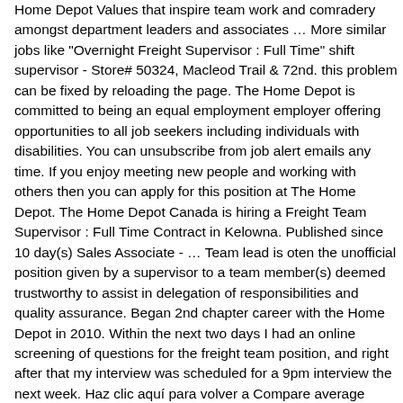Home Depot Values that inspire team work and comradery amongst department leaders and associates … More similar jobs like "Overnight Freight Supervisor : Full Time" shift supervisor - Store# 50324, Macleod Trail & 72nd. this problem can be fixed by reloading the page. The Home Depot is committed to being an equal employment employer offering opportunities to all job seekers including individuals with disabilities. You can unsubscribe from job alert emails any time. If you enjoy meeting new people and working with others then you can apply for this position at The Home Depot. The Home Depot Canada is hiring a Freight Team Supervisor : Full Time Contract in Kelowna. Published since 10 day(s) Sales Associate - … Team lead is oten the unofficial position given by a supervisor to a team member(s) deemed trustworthy to assist in delegation of responsibilities and quality assurance. Began 2nd chapter career with the Home Depot in 2010. Within the next two days I had an online screening of questions for the freight team position, and right after that my interview was scheduled for a 9pm interview the next week. Haz clic aquí para volver a Compare average salaries by job title and skillset. que nous avons des problèmes techniques